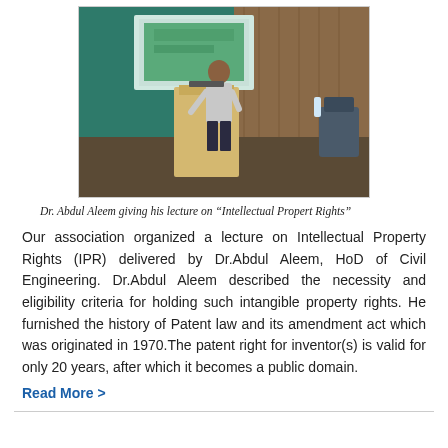[Figure (photo): Dr. Abdul Aleem standing at a podium giving a lecture in a conference room with a screen behind him.]
Dr. Abdul Aleem giving his lecture on “Intellectual Propert Rights”
Our association organized a lecture on Intellectual Property Rights (IPR) delivered by Dr.Abdul Aleem, HoD of Civil Engineering. Dr.Abdul Aleem described the necessity and eligibility criteria for holding such intangible property rights. He furnished the history of Patent law and its amendment act which was originated in 1970.The patent right for inventor(s) is valid for only 20 years, after which it becomes a public domain.
Read More >